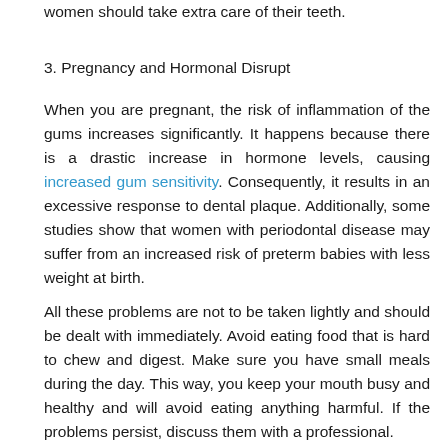women should take extra care of their teeth.
3. Pregnancy and Hormonal Disrupt
When you are pregnant, the risk of inflammation of the gums increases significantly. It happens because there is a drastic increase in hormone levels, causing increased gum sensitivity. Consequently, it results in an excessive response to dental plaque. Additionally, some studies show that women with periodontal disease may suffer from an increased risk of preterm babies with less weight at birth.
All these problems are not to be taken lightly and should be dealt with immediately. Avoid eating food that is hard to chew and digest. Make sure you have small meals during the day. This way, you keep your mouth busy and healthy and will avoid eating anything harmful. If the problems persist, discuss them with a professional.